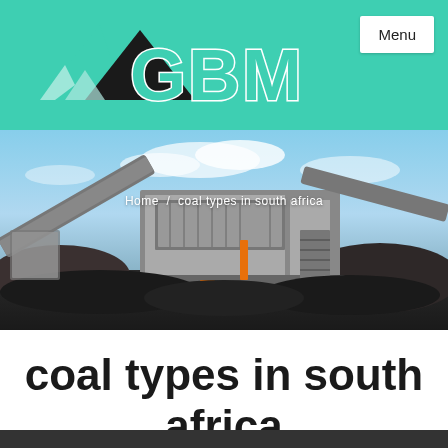[Figure (logo): GBM logo with mountain/arrow icon in teal and black, text 'GBM' in teal with white outline]
[Figure (photo): Industrial coal crushing/screening machinery on a coal yard with blue sky background]
Home / coal types in south africa
coal types in south africa